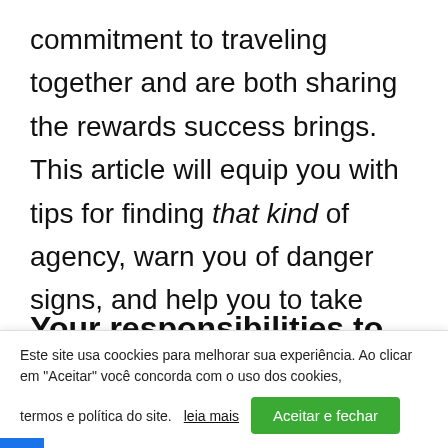commitment to traveling together and are both sharing the rewards success brings. This article will equip you with tips for finding that kind of agency, warn you of danger signs, and help you to take your local business on the best possible trek into the future.
Your responsibilities to the local SEO agency you hire
Este site usa coockies para melhorar sua experiência. Ao clicar em "Aceitar" você concorda com o uso dos cookies, termos e política do site. leia mais